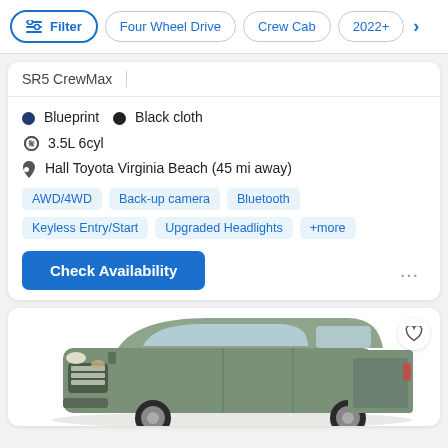Filter | Four Wheel Drive | Crew Cab | 2022+
SR5 CrewMax
Blueprint  Black cloth
3.5L 6cyl
Hall Toyota Virginia Beach (45 mi away)
AWD/4WD  Back-up camera  Bluetooth  Keyless Entry/Start  Upgraded Headlights  +more
Check Availability
[Figure (photo): Green Toyota Tundra truck, partial bottom view of vehicle listing card]